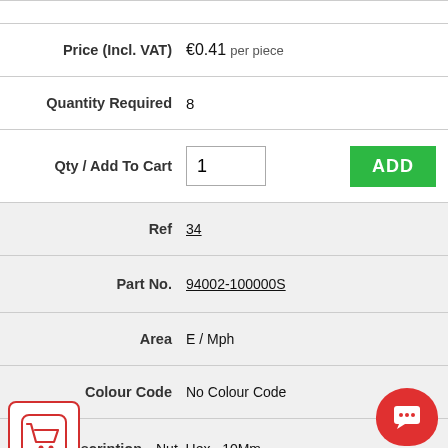| Price (Incl. VAT) | €0.41 per piece |
| Quantity Required | 8 |
| Qty / Add To Cart | 1 [ADD] |
| Ref | 34 |
| Part No. | 94002-100000S |
| Area | E / Mph |
| Colour Code | No Colour Code |
| Description | Nut, Hex., 10Mm |